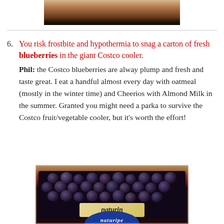[Figure (photo): Top portion of a photo showing a person at what appears to be a store, cropped at the top of the page]
6. You risk frostbite and hypothermia to snag a carton of fresh blueberries in the giant Costco cooler. Phil: the Costco blueberries are alway plump and fresh and taste great. I eat a handful almost every day with oatmeal (mostly in the winter time) and Cheerios with Almond Milk in the summer. Granted you might need a parka to survive the Costco fruit/vegetable cooler, but it's worth the effort!
[Figure (photo): Photo of a plastic clamshell container of blueberries with a Naturipe brand label, partially visible at the bottom of the page]